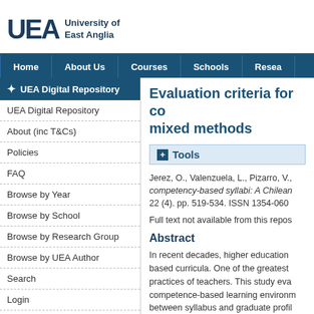[Figure (logo): University of East Anglia logo with UEA letters and text]
Home | About Us | Courses | Schools | Resea...
UEA Digital Repository
UEA Digital Repository
About (inc T&Cs)
Policies
FAQ
Browse by Year
Browse by School
Browse by Research Group
Browse by UEA Author
Search
Login
Evaluation criteria for co... mixed methods
Tools
Jerez, O., Valenzuela, L., Pizarro, V.,... competency-based syllabi: A Chilean... 22 (4). pp. 519-534. ISSN 1354-060...
Full text not available from this repos...
Abstract
In recent decades, higher education based curricula. One of the greatest practices of teachers. This study eva... competence-based learning environ... between syllabus and graduate profil... mobilise the learning outcomes; and analysis of competence-based learni... of five Chilean public universities we... their learning models. Using a three-... comparison was made between the a... criteria. Results show a gap betw...